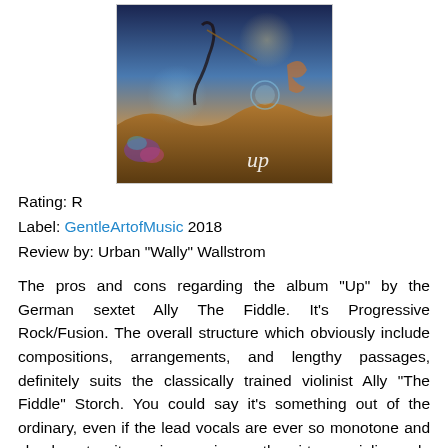[Figure (illustration): Album cover art for 'Up' by Ally The Fiddle. Fantasy/surreal digital illustration with a violinist figure, colorful cosmic and desert landscape elements, the word 'up' in white at bottom right.]
Rating: R
Label: GentleArtofMusic 2018
Review by: Urban "Wally" Wallstrom
The pros and cons regarding the album "Up" by the German sextet Ally The Fiddle. It's Progressive Rock/Fusion. The overall structure which obviously include compositions, arrangements, and lengthy passages, definitely suits the classically trained violinist Ally "The Fiddle" Storch. You could say it's something out of the ordinary, even if the lead vocals are ever so monotone and clearly not quite as impressive as the virtuoso violin work. The likes of "Sisyphos", "Living In a Bubble", "Center Sun", does not compute, are really sore, and difficult to praise. The majority of tracks are instrumental